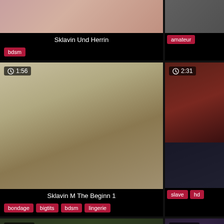[Figure (screenshot): Video thumbnail top left - close-up skin tone image]
Sklavin Und Herrin
bdsm
[Figure (screenshot): Video thumbnail top right - partial figure]
amateur
[Figure (screenshot): Video thumbnail mid left - person standing against wall, duration 1:56]
Sklavin M The Beginn 1
bondage bigtits bdsm lingerie
[Figure (screenshot): Video thumbnail mid right top - dark red room, duration 2:31]
slave hd
[Figure (screenshot): Video thumbnail bottom left - outdoor scene, duration 15:18]
[Figure (screenshot): Video thumbnail bottom right - outdoor scene, duration 20:18]